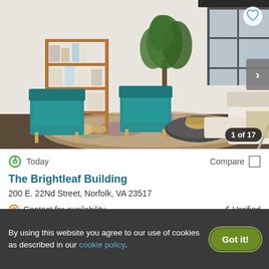[Figure (photo): Interior photo of a modern living room with teal accent chairs, wooden bookshelf, fiddle-leaf fig tree, large windows, arc floor lamp, white sofa with ottoman, and colorful rug. Navigation arrow on right side. Image counter '1 of 17' in bottom-right corner.]
Today
Compare
The Brightleaf Building
200 E. 22Nd Street, Norfolk, VA 23517
Contact for availability
Verified
1 BED   2 BEDS   3 BEDS
By using this website you agree to our use of cookies as described in our cookie policy.